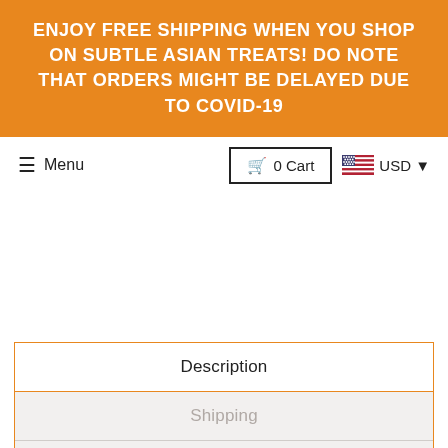ENJOY FREE SHIPPING WHEN YOU SHOP ON SUBTLE ASIAN TREATS! DO NOTE THAT ORDERS MIGHT BE DELAYED DUE TO COVID-19
Menu
0 Cart
USD
Description
Shipping
Our Guarantee
Sleek. Simple. Should be on your phone